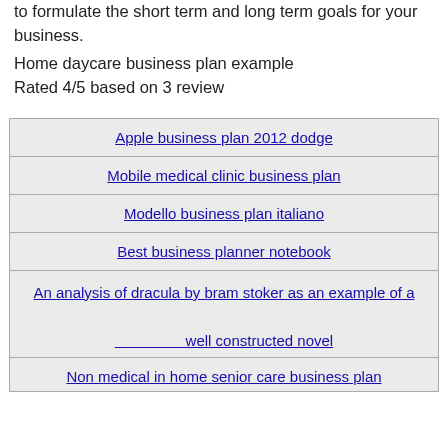to formulate the short term and long term goals for your business.
Home daycare business plan example
Rated 4/5 based on 3 review
| Apple business plan 2012 dodge |
| Mobile medical clinic business plan |
| Modello business plan italiano |
| Best business planner notebook |
| An analysis of dracula by bram stoker as an example of a well constructed novel |
| Non medical in home senior care business plan |